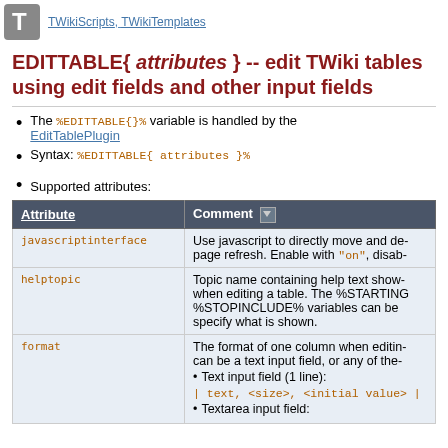TWikiScripts, TWikiTemplates
EDITTABLE{ attributes } -- edit TWiki tables using edit fields and other input fields
The %EDITTABLE{}% variable is handled by the EditTablePlugin
Syntax: %EDITTABLE{ attributes }%
Supported attributes:
| Attribute | Comment |
| --- | --- |
| javascriptinterface | Use javascript to directly move and de- page refresh. Enable with "on", disab- |
| helptopic | Topic name containing help text show- when editing a table. The %STARTING %STOPINCLUDE% variables can be specify what is shown. |
| format | The format of one column when editin- can be a text input field, or any of the- • Text input field (1 line): | text, <size>, <initial value> | • Textarea input field: |